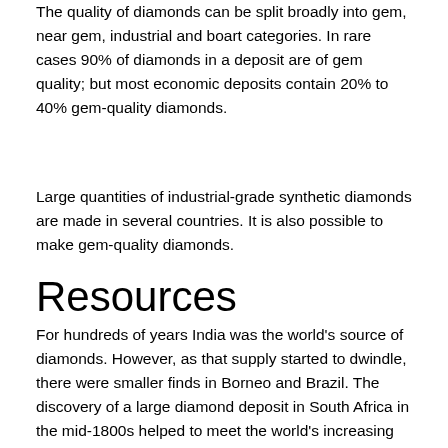The quality of diamonds can be split broadly into gem, near gem, industrial and boart categories. In rare cases 90% of diamonds in a deposit are of gem quality; but most economic deposits contain 20% to 40% gem-quality diamonds.
Large quantities of industrial-grade synthetic diamonds are made in several countries. It is also possible to make gem-quality diamonds.
Resources
For hundreds of years India was the world's source of diamonds. However, as that supply started to dwindle, there were smaller finds in Borneo and Brazil. The discovery of a large diamond deposit in South Africa in the mid-1800s helped to meet the world's increasing appetite for these gems. Today, diamonds are also mined in South Africa, Botswana, the Democratic Republic of Congo, Australia, Canada, Zimbabwe, Namibia, Angola, throughout many countries in western Africa and Russia.
Diamonds in Australia were recorded in the Bathurst area, New South Wales in 1851. Significant quantities also were mined from alluvial deposits at Copeton and Bingara, near Inverell in north-eastern New...